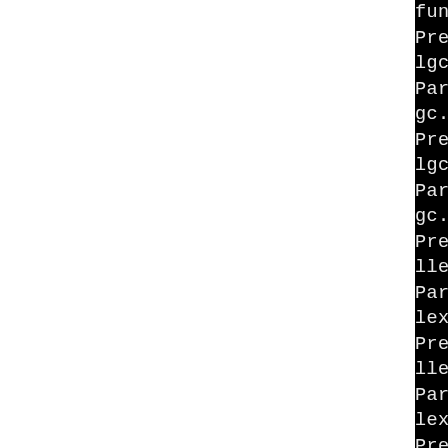func.h...
Preprocessing /tmp/B.b67e2lgc.c...
Parsing file /tmp/B.b67e21gc.c...
Preprocessing /tmp/B.b67e2lgc.h...
Parsing file /tmp/B.b67e21gc.h...
Preprocessing /tmp/B.b67e2llex.c...
Parsing file /tmp/B.b67e21lex.c...
Preprocessing /tmp/B.b67e2llex.h...
Parsing file /tmp/B.b67e21lex.h...
Preprocessing /tmp/B.b67e2llimits.h...
Parsing file /tmp/B.b67e21limits.h...
Preprocessing /tmp/B.b67e2lmem.c...
Parsing file /tmp/B.b67e1